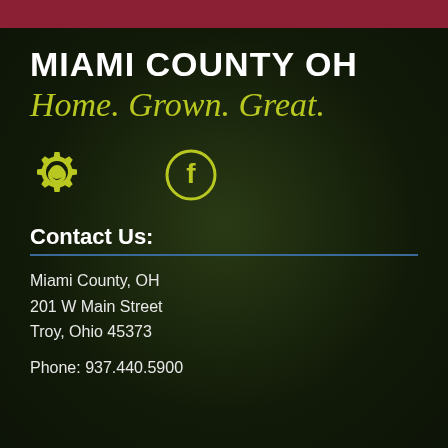MIAMI COUNTY OH
Home. Grown. Great.
[Figure (illustration): Gear/settings icon (olive/yellow) and Facebook circle icon (olive/yellow) side by side]
Contact Us:
Miami County, OH
201 W Main Street
Troy, Ohio 45373
Phone: 937.440.5900